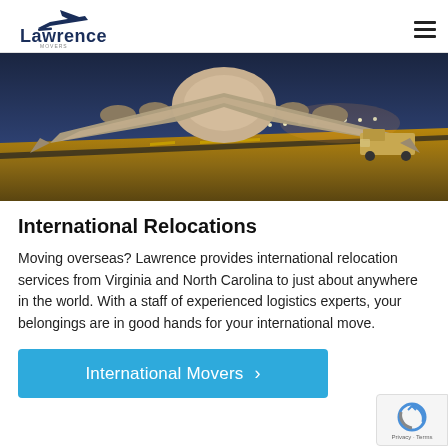Lawrence Movers (logo and navigation)
[Figure (photo): Underside view of a large cargo aircraft on a tarmac at night, with airport lights in the background and a pickup truck to the right.]
International Relocations
Moving overseas? Lawrence provides international relocation services from Virginia and North Carolina to just about anywhere in the world. With a staff of experienced logistics experts, your belongings are in good hands for your international move.
International Movers >